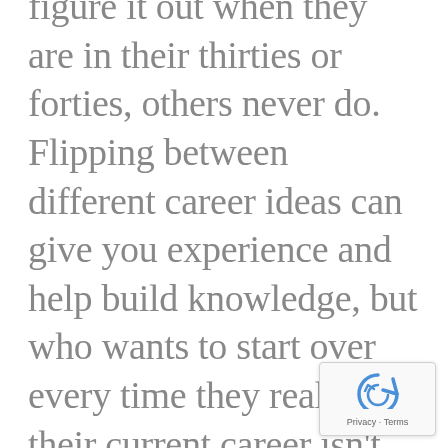figure it out when they are in their thirties or forties, others never do. Flipping between different career ideas can give you experience and help build knowledge, but who wants to start over every time they realize their current career isn't suitable for them anymore? This doesn't mean that you need to pick